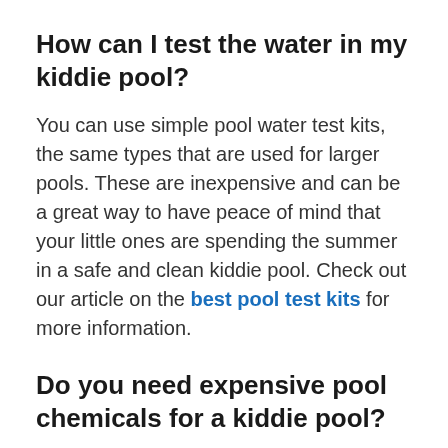How can I test the water in my kiddie pool?
You can use simple pool water test kits, the same types that are used for larger pools. These are inexpensive and can be a great way to have peace of mind that your little ones are spending the summer in a safe and clean kiddie pool. Check out our article on the best pool test kits for more information.
Do you need expensive pool chemicals for a kiddie pool?
Generally, NO. Kiddie pools have significantly less water volume than a full-size swimming